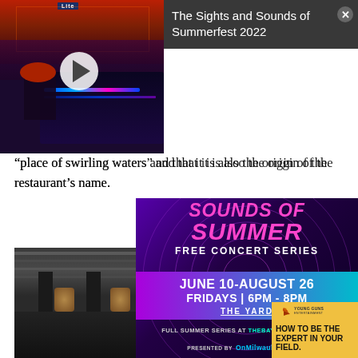[Figure (screenshot): Video thumbnail showing a concert/festival scene with sound mixing board in foreground, red stage lights, crowd in background, with a play button overlaid. Miller Lite signage visible at top.]
The Sights and Sounds of Summerfest 2022
“place of swirling waters” and that it is also the origin of the restaurant’s name.
[Figure (screenshot): Promotional advertisement for 'Sounds of Summer Free Concert Series' at The Yard. June 10 - August 26, Fridays 6PM - 8PM. Full Summer Series at TheBayshorelife.com. Presented by OnMilwaukee. Dark purple/magenta background with swirl patterns.]
[Figure (photo): Interior of a building with a modern architectural ceiling, pendant lights, concrete pillars, photographed in low light/evening setting.]
[Figure (screenshot): Young Guns advertisement: 'HOW TO BE THE EXPERT IN YOUR FIELD.' with an orange/yellow background and bird logo.]